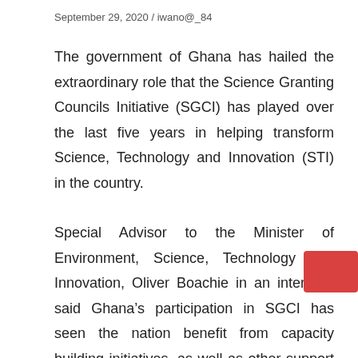September 29, 2020 / iwano@_84
The government of Ghana has hailed the extraordinary role that the Science Granting Councils Initiative (SGCI) has played over the last five years in helping transform Science, Technology and Innovation (STI) in the country.
Special Advisor to the Minister of Environment, Science, Technology and Innovation, Oliver Boachie in an interview said Ghana’s participation in SGCI has seen the nation benefit from capacity building initiatives, as well as other support aimed at putting STI at the center of national development.